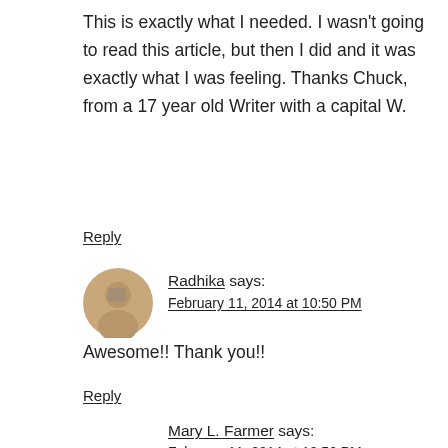This is exactly what I needed. I wasn't going to read this article, but then I did and it was exactly what I was feeling. Thanks Chuck, from a 17 year old Writer with a capital W.
Reply
Radhika says:
February 11, 2014 at 10:50 PM
Awesome!! Thank you!!
Reply
Mary L. Farmer says:
February 11, 2014 at 10:56 PM